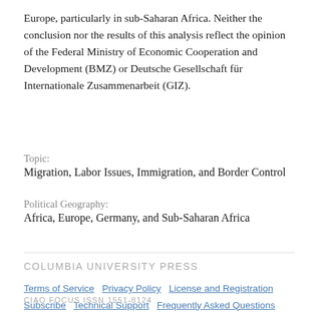Europe, particularly in sub-Saharan Africa. Neither the conclusion nor the results of this analysis reflect the opinion of the Federal Ministry of Economic Cooperation and Development (BMZ) or Deutsche Gesellschaft für Internationale Zusammenarbeit (GIZ).
Topic:
Migration, Labor Issues, Immigration, and Border Control
Political Geography:
Africa, Europe, Germany, and Sub-Saharan Africa
COLUMBIA UNIVERSITY PRESS
Terms of Service   Privacy Policy   License and Registration   Subscribe   Technical Support   Frequently Asked Questions   About CIAO
CIAO FOCUS ISSN 1551-8124